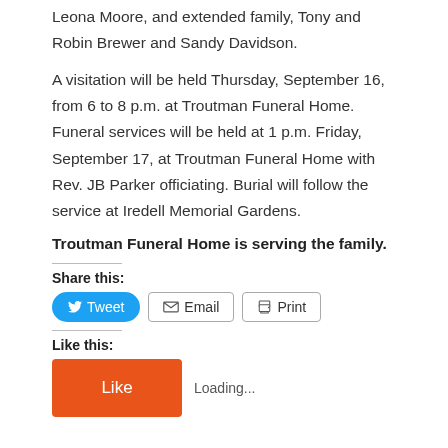Leona Moore, and extended family, Tony and Robin Brewer and Sandy Davidson.
A visitation will be held Thursday, September 16, from 6 to 8 p.m. at Troutman Funeral Home. Funeral services will be held at 1 p.m. Friday, September 17, at Troutman Funeral Home with Rev. JB Parker officiating. Burial will follow the service at Iredell Memorial Gardens.
Troutman Funeral Home is serving the family.
Share this:
Tweet  Email  Print
Like this:
Like  Loading...